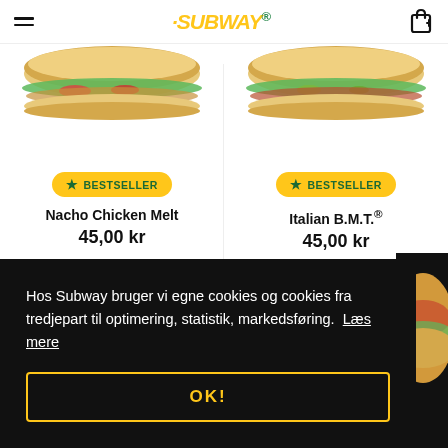Subway
[Figure (photo): Sandwich product photo - Nacho Chicken Melt]
[Figure (photo): Sandwich product photo - Italian B.M.T.]
BESTSELLER
BESTSELLER
Nacho Chicken Melt
45,00 kr
Italian B.M.T.®
45,00 kr
Hos Subway bruger vi egne cookies og cookies fra tredjepart til optimering, statistik, markedsføring.  Læs mere
OK!